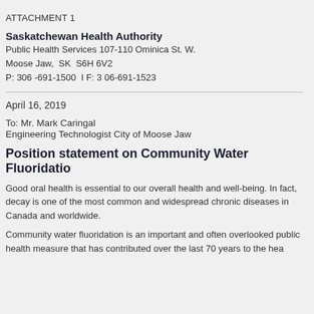ATTACHMENT 1
Saskatchewan Health Authority
Public Health Services 107-110 Ominica St. W.
Moose Jaw,  SK  S6H 6V2
P: 306 -691-1500  I F: 3 06-691-1523
April 16, 2019
To: Mr. Mark Caringal
Engineering Technologist City of Moose Jaw
Position statement on Community Water Fluoridation
Good oral health is essential to our overall health and well-being. In fact, decay is one of the most common and widespread chronic diseases in Canada and worldwide.
Community water fluoridation is an important and often overlooked public health measure that has contributed over the last 70 years to the health...